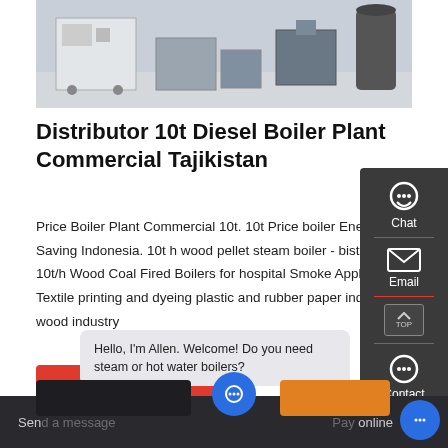[Figure (photo): Industrial boiler/heating equipment in a factory or plant setting, showing large machines and equipment on a grey floor]
Distributor 10t Diesel Boiler Plant Commercial Tajikistan
Price Boiler Plant Commercial 10t. 10t Price boiler Energy Saving Indonesia. 10t h wood pellet steam boiler - bistroflavors. 10t/h Wood Coal Fired Boilers for hospital Smoke Application : Textile printing and dyeing plastic and rubber paper industry wood industry
Get a quote
[Figure (infographic): Floating sidebar widget with Chat, Email, TOP, and Contact icons on dark background]
Hello, I'm Allen. Welcome! Do you need steam or hot water boilers?
Send a message ... Pay online